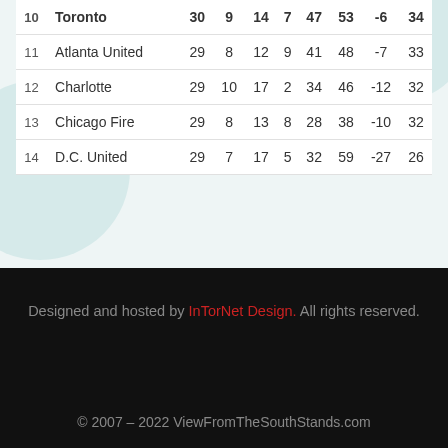| 10 | Toronto | 30 | 9 | 14 | 7 | 47 | 53 | -6 | 34 |
| 11 | Atlanta United | 29 | 8 | 12 | 9 | 41 | 48 | -7 | 33 |
| 12 | Charlotte | 29 | 10 | 17 | 2 | 34 | 46 | -12 | 32 |
| 13 | Chicago Fire | 29 | 8 | 13 | 8 | 28 | 38 | -10 | 32 |
| 14 | D.C. United | 29 | 7 | 17 | 5 | 32 | 59 | -27 | 26 |
Designed and hosted by InTorNet Design. All rights reserved.
© 2007 – 2022 ViewFromTheSouthStands.com